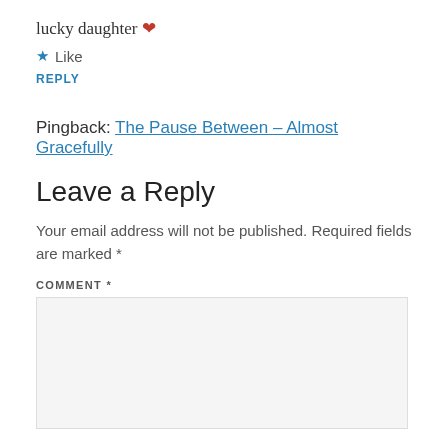lucky daughter ❤
★ Like
REPLY
Pingback: The Pause Between – Almost Gracefully
Leave a Reply
Your email address will not be published. Required fields are marked *
COMMENT *